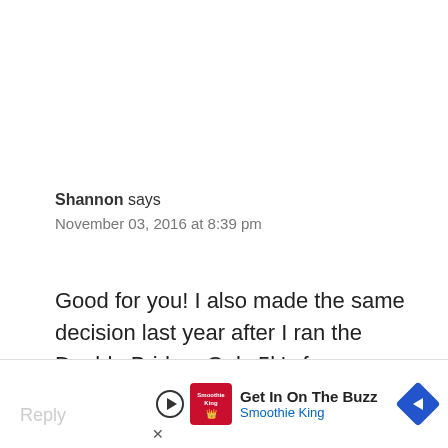Shannon says
November 03, 2016 at 8:39 pm
Good for you! I also made the same decision last year after I ran the Double Bridge. Only 5k's for me. Keep me in mind when your ready to run a 5k again.
[Figure (screenshot): Advertisement banner for Smoothie King with play button, logo, 'Get In On The Buzz' headline, and navigation arrow icon]